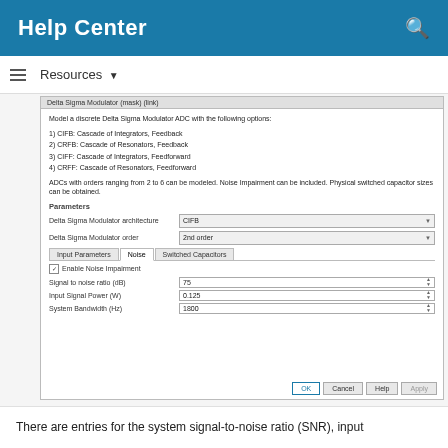Help Center
Resources ▼
[Figure (screenshot): Dialog box for Delta Sigma Modulator (mask) showing fields: architecture (CIFB), order (2nd order), tabs for Input Parameters / Noise / Switched Capacitors, Enable Noise Impairment checkbox, Signal to noise ratio (dB) = 75, Input Signal Power (W) = 0.125, System Bandwidth (Hz) = 1800]
There are entries for the system signal-to-noise ratio (SNR), input